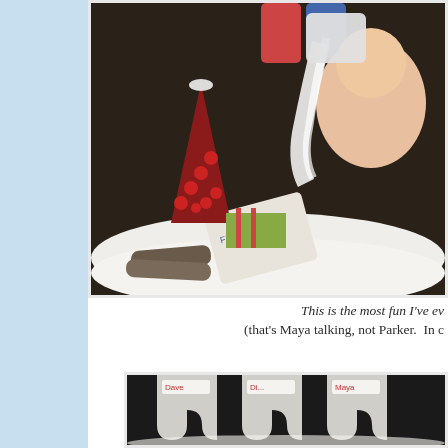[Figure (photo): A child joyfully pouring flour from a bag, creating a snowy mess on the floor near a Christmas fireplace setting with stockings, a cranberry cone tree decoration, and wrapped gifts. Flour covers the carpet.]
This is the most fun I've ev... (that's Maya talking, not Parker.  In c...
[Figure (photo): Christmas stockings hanging, covered in flour/powder, with name labels visible reading 'Dave', 'Di...', 'Maya' against a dark background.]